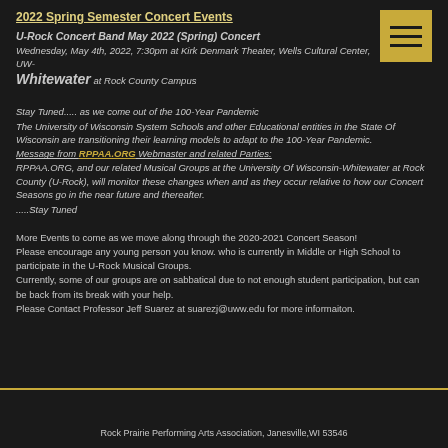2022 Spring Semester Concert Events
U-Rock Concert Band May 2022 (Spring) Concert
Wednesday, May 4th, 2022, 7:30pm at Kirk Denmark Theater, Wells Cultural Center, UW-Whitewater at Rock County Campus
Stay Tuned..... as we come out of the 100-Year Pandemic
The University of Wisconsin System Schools and other Educational entities in the State Of Wisconsin are transitioning their learning models to adapt to the 100-Year Pandemic.
Message from RPPAA.ORG Webmaster and related Parties:
RPPAA.ORG, and our related Musical Groups at the University Of Wisconsin-Whitewater at Rock County (U-Rock), will monitor these changes when and as they occur relative to how our Concert Seasons go in the near future and thereafter.
.....Stay Tuned
More Events to come as we move along through the 2020-2021 Concert Season!
Please encourage any young person you know. who is currently in Middle or High School to participate in the U-Rock Musical Groups.
Currently, some of our groups are on sabbatical due to not enough student participation, but can be back from its break with your help.
Please Contact Professor Jeff Suarez at suarezj@uww.edu for more informaiton.
Rock Prairie Performing Arts Association, Janesville,WI 53546